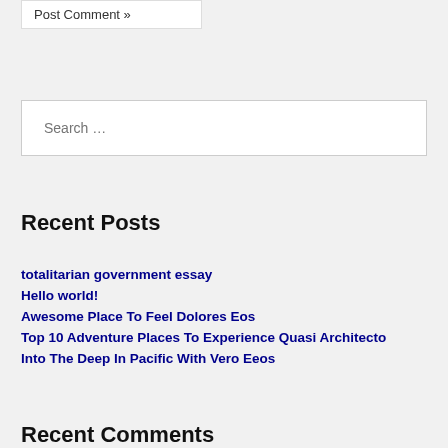Post Comment »
Search …
Recent Posts
totalitarian government essay
Hello world!
Awesome Place To Feel Dolores Eos
Top 10 Adventure Places To Experience Quasi Architecto
Into The Deep In Pacific With Vero Eeos
Recent Comments